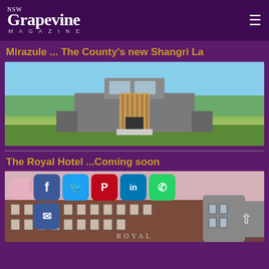NSW Grapevine Magazine
Mirazule ... The County's new Shangri La
[Figure (photo): Modern architectural building with flat roof, wood and concrete facade, surrounded by green lawn and trees under blue sky]
The Royal Hotel ...Coming soon
[Figure (photo): The Royal Hotel building exterior, red brick historic building with social media share buttons overlaid (Facebook, Twitter, Pinterest, LinkedIn, WhatsApp, Email) and a scroll-to-top button]